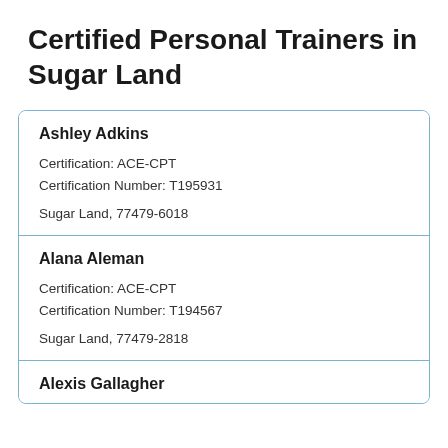Certified Personal Trainers in Sugar Land
Ashley Adkins
Certification: ACE-CPT
Certification Number: T195931
Sugar Land, 77479-6018
Alana Aleman
Certification: ACE-CPT
Certification Number: T194567
Sugar Land, 77479-2818
Alexis Gallagher